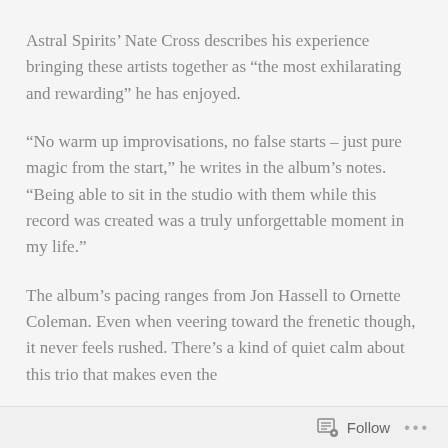Astral Spirits’ Nate Cross describes his experience bringing these artists together as “the most exhilarating and rewarding” he has enjoyed.
“No warm up improvisations, no false starts – just pure magic from the start,” he writes in the album’s notes. “Being able to sit in the studio with them while this record was created was a truly unforgettable moment in my life.”
The album’s pacing ranges from Jon Hassell to Ornette Coleman. Even when veering toward the frenetic though, it never feels rushed. There’s a kind of quiet calm about this trio that makes even the
Follow …